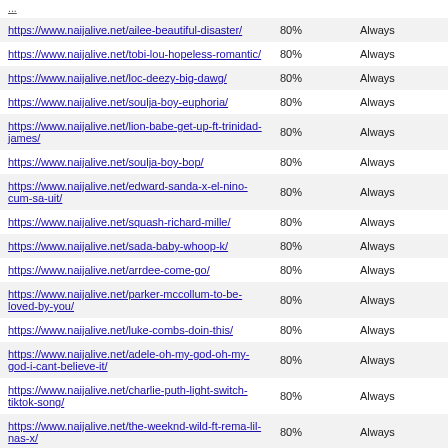| URL | Percentage | Frequency |
| --- | --- | --- |
| https://www.naijalive.net/ailee-beautiful-disaster/ | 80% | Always |
| https://www.naijalive.net/tobi-lou-hopeless-romantic/ | 80% | Always |
| https://www.naijalive.net/loc-deezy-big-dawg/ | 80% | Always |
| https://www.naijalive.net/soulja-boy-euphoria/ | 80% | Always |
| https://www.naijalive.net/lion-babe-get-up-ft-trinidad-james/ | 80% | Always |
| https://www.naijalive.net/soulja-boy-bop/ | 80% | Always |
| https://www.naijalive.net/edward-sanda-x-el-nino-cum-sa-uit/ | 80% | Always |
| https://www.naijalive.net/squash-richard-mille/ | 80% | Always |
| https://www.naijalive.net/sada-baby-whoop-k/ | 80% | Always |
| https://www.naijalive.net/arrdee-come-go/ | 80% | Always |
| https://www.naijalive.net/parker-mccollum-to-be-loved-by-you/ | 80% | Always |
| https://www.naijalive.net/luke-combs-doin-this/ | 80% | Always |
| https://www.naijalive.net/adele-oh-my-god-oh-my-god-i-cant-believe-it/ | 80% | Always |
| https://www.naijalive.net/charlie-puth-light-switch-tiktok-song/ | 80% | Always |
| https://www.naijalive.net/the-weeknd-wild-ft-rema-lil-nas-x/ | 80% | Always |
| https://www.naijalive.net/madonna-frozen-remix-ft-fireboy-dml/ | 80% | Always |